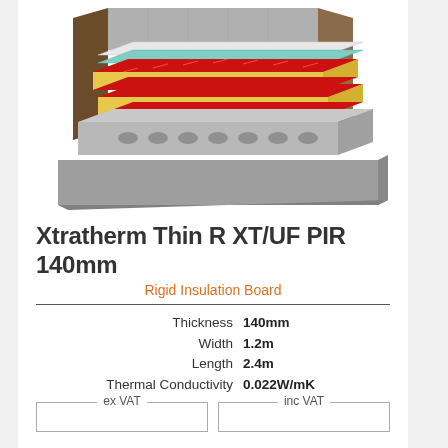[Figure (illustration): 3D cutaway illustration of Xtratherm Thin R XT/UF PIR insulation board installed in a concrete floor construction, showing layered red-faced insulation panels with yellow foam core beneath a white surface layer, set within a masonry wall reveal.]
Xtratherm Thin R XT/UF PIR 140mm
Rigid Insulation Board
| Property | Value |
| --- | --- |
| Thickness | 140mm |
| Width | 1.2m |
| Length | 2.4m |
| Thermal Conductivity | 0.022W/mK |
ex VAT | inc VAT